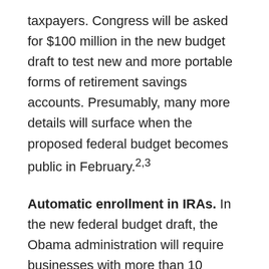taxpayers. Congress will be asked for $100 million in the new budget draft to test new and more portable forms of retirement savings accounts. Presumably, many more details will surface when the proposed federal budget becomes public in February.2,3
Automatic enrollment in IRAs. In the new federal budget draft, the Obama administration will require businesses with more than 10 employees and no retirement savings program to enroll their workers in IRAs. This idea has been included in past federal budget drafts, but it has yet to survive